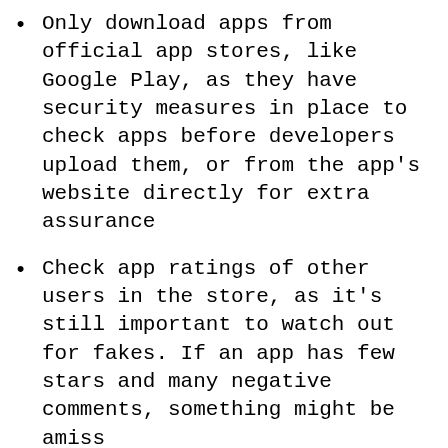Only download apps from official app stores, like Google Play, as they have security measures in place to check apps before developers upload them, or from the app's website directly for extra assurance
Check app ratings of other users in the store, as it's still important to watch out for fakes. If an app has few stars and many negative comments, something might be amiss
Carefully review the permissions an app requests before downloading an app; if an app requests access to data that it doesn't need in order to function, it might be fraudulent
Check your banking and credit card statements to identify any unauthorized payments. Cybercriminals will select low-cost subscriptions so they're hard to spot